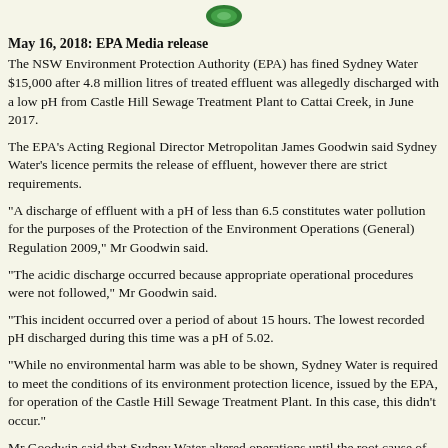[Figure (logo): Green circular EPA logo at top center]
May 16, 2018: EPA Media release
The NSW Environment Protection Authority (EPA) has fined Sydney Water $15,000 after 4.8 million litres of treated effluent was allegedly discharged with a low pH from Castle Hill Sewage Treatment Plant to Cattai Creek, in June 2017.
The EPA's Acting Regional Director Metropolitan James Goodwin said Sydney Water's licence permits the release of effluent, however there are strict requirements.
“A discharge of effluent with a pH of less than 6.5 constitutes water pollution for the purposes of the Protection of the Environment Operations (General) Regulation 2009,” Mr Goodwin said.
“The acidic discharge occurred because appropriate operational procedures were not followed,” Mr Goodwin said.
“This incident occurred over a period of about 15 hours. The lowest recorded pH discharged during this time was a pH of 5.02.
“While no environmental harm was able to be shown, Sydney Water is required to meet the conditions of its environment protection licence, issued by the EPA, for operation of the Castle Hill Sewage Treatment Plant. In this case, this didn’t occur.”
Mr Goodwin said that Sydney Water altered operations until the root cause of the failure was identified and corrective action had been taken to eliminate the